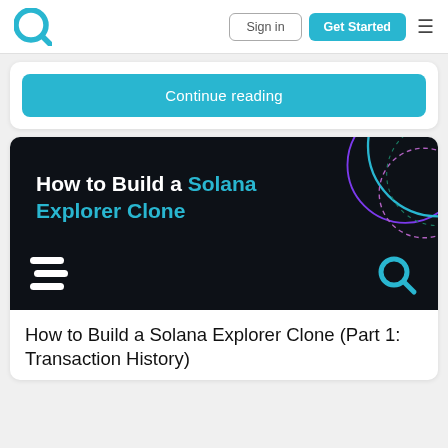[Figure (logo): Quicknode Q logo in blue, top left of navbar]
Sign in
Get Started
Continue reading
[Figure (illustration): Dark banner with text 'How to Build a Solana Explorer Clone', Solana logo icon and Quicknode logo, plus decorative purple and teal circles top right]
How to Build a Solana Explorer Clone (Part 1: Transaction History)